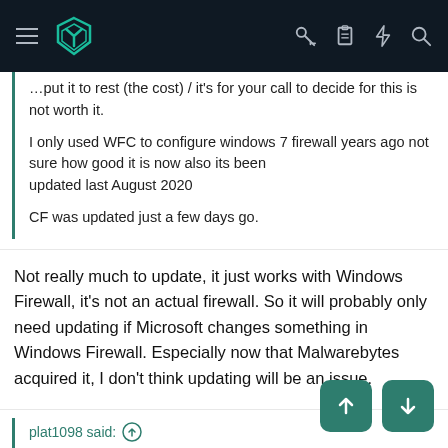Navigation bar with hamburger menu, logo, key icon, clipboard icon, lightning icon, search icon
…put it to rest (the cost) / it's for your call to decide for this is not worth it.
I only used WFC to configure windows 7 firewall years ago not sure how good it is now also its been updated last August 2020
CF was updated just a few days go.
Not really much to update, it just works with Windows Firewall, it's not an actual firewall. So it will probably only need updating if Microsoft changes something in Windows Firewall. Especially now that Malwarebytes acquired it, I don't think updating will be an issue.
plat1098 said:
No way would I use Windows firewall at default settings. A front-end